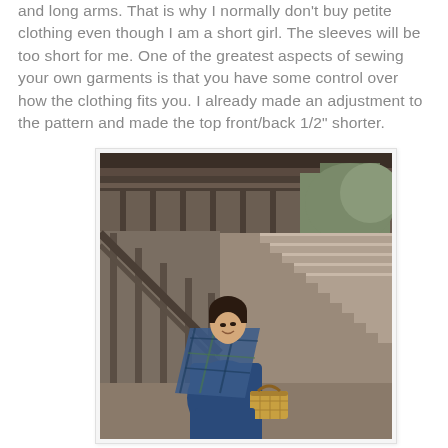and long arms. That is why I normally don't buy petite clothing even though I am a short girl. The sleeves will be too short for me. One of the greatest aspects of sewing your own garments is that you have some control over how the clothing fits you. I already made an adjustment to the pattern and made the top front/back 1/2" shorter.
[Figure (photo): A woman wearing a blue dress and a plaid shawl sits on outdoor wooden stairs of a building, smiling and looking upward. She has a wicker/wooden basket beside her. The background shows a wooden structure with railings and stairs, and trees in the distance.]